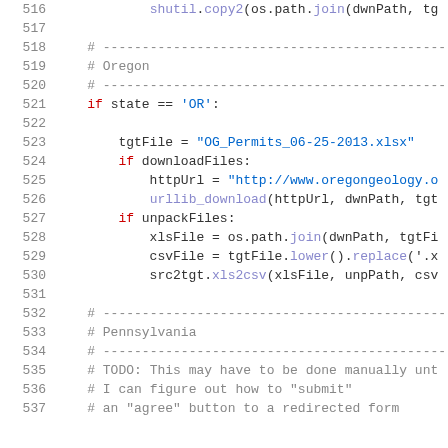[Figure (screenshot): Source code listing showing Python code lines 516-537, with syntax highlighting. Lines include shutil.copy2, Oregon section comments, if state == 'OR' block with file download and unpack logic, and Pennsylvania section comments with TODO notes.]